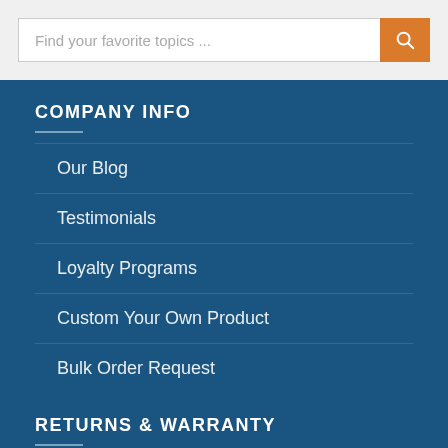Find your favorite topics ...
COMPANY INFO
Our Blog
Testimonials
Loyalty Programs
Custom Your Own Product
Bulk Order Request
RETURNS & WARRANTY